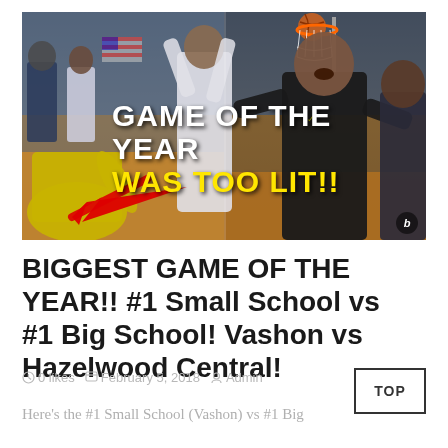[Figure (photo): Basketball game thumbnail image with text overlay reading 'GAME OF THE YEAR WAS TOO LIT!!' with a red arrow pointing left and a ballislife watermark]
BIGGEST GAME OF THE YEAR!! #1 Small School vs #1 Big School! Vashon vs Hazelwood Central!
Here's the #1 Small School (Vashon) vs #1 Big School (Hazelwood Central)...